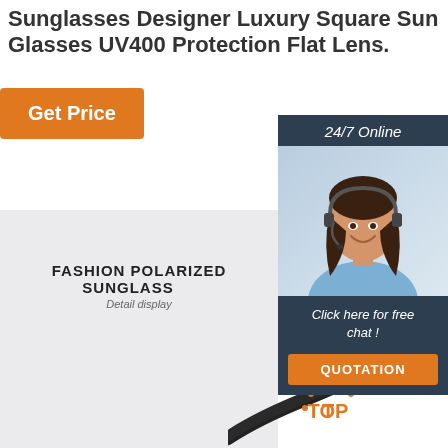Sunglasses Designer Luxury Square Sun Glasses UV400 Protection Flat Lens.
[Figure (other): Orange 'Get Price' button]
[Figure (other): Customer service widget with '24/7 Online' header, photo of woman with headset, 'Click here for free chat!' text, and orange QUOTATION button]
[Figure (photo): Light grey product display area showing 'FASHION POLARIZED SUNGLASSES' with 'Detail display' subtitle and a partial image of a black sunglasses arm at bottom right, with a dotted TOP badge]
FASHION POLARIZED SUNGLASSES
Detail display